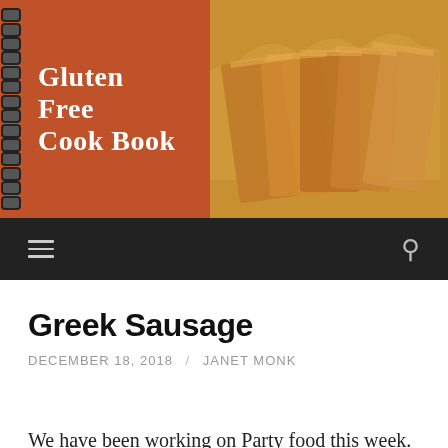[Figure (photo): Header image of a cookbook titled Jan's Gluten Free Cook Book with spiral binding on the left side against an orange-brown background, and sliced bread on the right side]
≡  🔍
Greek Sausage
DECEMBER 18, 2018 / JANET MONK
We have been working on Party food this week. I love the make ahead kind that you can pull out and just